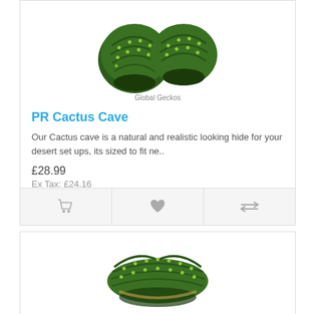[Figure (photo): Photo of a PR Cactus Cave product — two dark green cactus-shaped resin hides]
Global Geckos
PR Cactus Cave
Our Cactus cave is a natural and realistic looking hide for your desert set ups, its sized to fit ne..
£28.99
Ex Tax: £24.16
[Figure (photo): Photo of another cactus hide product — flat green ridged cactus shape viewed from above]